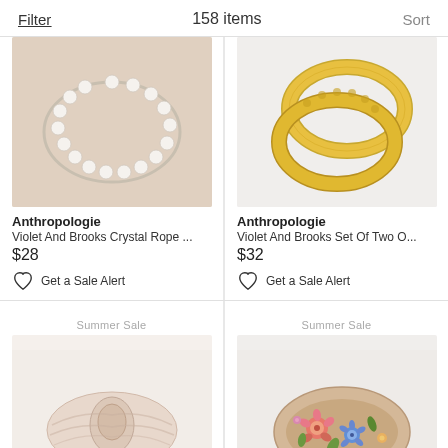Filter   158 items   Sort
[Figure (photo): Pearl/crystal rope bracelet or headband on beige background - Anthropologie product]
Anthropologie
Violet And Brooks Crystal Rope ...
$28
Get a Sale Alert
[Figure (photo): Gold textured open-ring bangles on white background - Anthropologie product]
Anthropologie
Violet And Brooks Set Of Two O...
$32
Get a Sale Alert
Summer Sale
[Figure (photo): Light pink knotted fabric headband on beige background - Summer Sale item]
Summer Sale
[Figure (photo): Floral embroidered wide headband with colorful flowers on beige background - Summer Sale item]